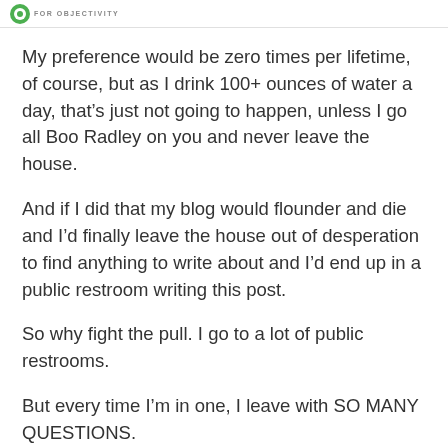FOR OBJECTIVITY
My preference would be zero times per lifetime, of course, but as I drink 100+ ounces of water a day, that's just not going to happen, unless I go all Boo Radley on you and never leave the house.
And if I did that my blog would flounder and die and I'd finally leave the house out of desperation to find anything to write about and I'd end up in a public restroom writing this post.
So why fight the pull. I go to a lot of public restrooms.
But every time I'm in one, I leave with SO MANY QUESTIONS.